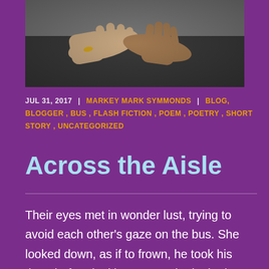[Figure (photo): Photograph of two people's hands clasped together, one person wearing dark clothing, photo cropped to show hands and partial torso]
JUL 31, 2017  |  MARKEY MARK SYMMONDS  |  BLOG, BLOGGER, BUS, FLASH FICTION, POEM, POETRY, SHORT STORY, UNCATEGORIZED
Across the Aisle
Their eyes met in wonder lust, trying to avoid each other's gaze on the bus. She looked down, as if to frown, he took his time, before looking away. She looked up briefly and gave a smile, he caught it from across the Aisle. He bowed his head as if to